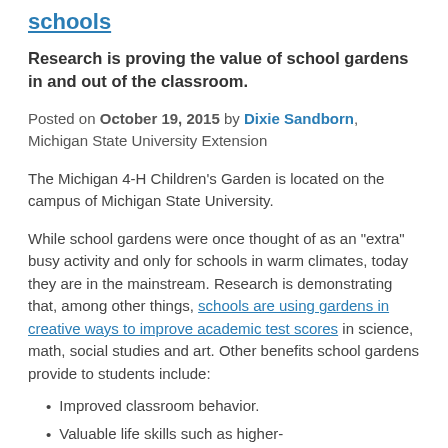schools
Research is proving the value of school gardens in and out of the classroom.
Posted on October 19, 2015 by Dixie Sandborn, Michigan State University Extension
The Michigan 4-H Children's Garden is located on the campus of Michigan State University.
While school gardens were once thought of as an "extra" busy activity and only for schools in warm climates, today they are in the mainstream. Research is demonstrating that, among other things, schools are using gardens in creative ways to improve academic test scores in science, math, social studies and art. Other benefits school gardens provide to students include:
Improved classroom behavior.
Valuable life skills such as higher-level conflict resolution, problem-